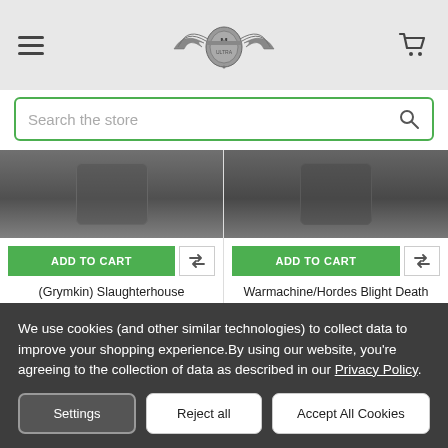Header navigation bar with hamburger menu, winged logo, and cart icon
Search the store
[Figure (photo): Grymkin Slaughterhouse Gargantuan foam tray product image (dark grey tray photo, cropped)]
ADD TO CART
(Grymkin) Slaughterhouse Gargantuan Foam Tray (PP.5-6)
$23.99
[Figure (photo): Warmachine/Hordes Blight Death and Defiled Archon foam tray product image (dark grey tray photo, cropped)]
ADD TO CART
Warmachine/Hordes Blight Death and Defiled Archon Foam Tray (PP.5-4)
$17.99
We use cookies (and other similar technologies) to collect data to improve your shopping experience.By using our website, you're agreeing to the collection of data as described in our Privacy Policy.
Settings | Reject all | Accept All Cookies